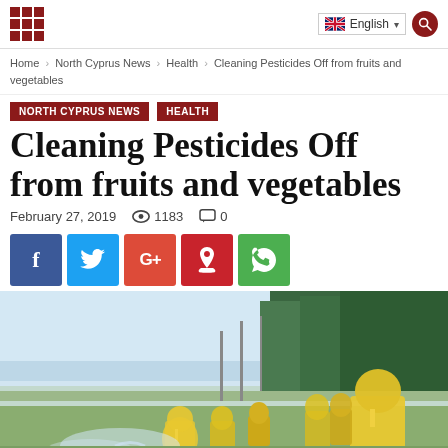English
Home › North Cyprus News › Health › Cleaning Pesticides Off from fruits and vegetables
NORTH CYPRUS NEWS   HEALTH
Cleaning Pesticides Off from fruits and vegetables
February 27, 2019   👁 1183   💬 0
[Figure (screenshot): Social sharing buttons: Facebook (blue), Twitter (light blue), Google+ (red-orange), Pinterest (red), WhatsApp (green)]
[Figure (photo): Workers in yellow hazmat suits spraying pesticides in a field, with trees in background]